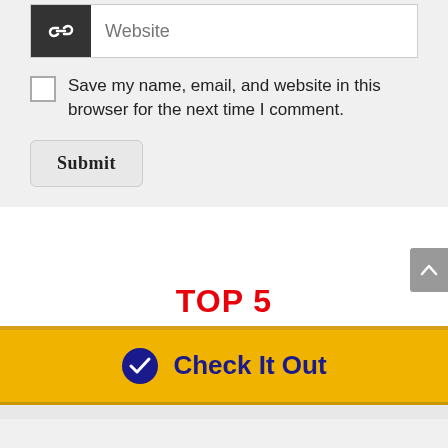[Figure (screenshot): Website input field with dark icon showing a chain/link symbol and placeholder text 'Website']
Save my name, email, and website in this browser for the next time I comment.
Submit
TOP 5
Check It Out